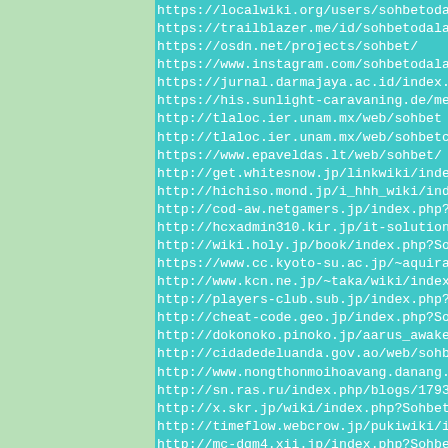https://localwiki.org/users/sohbetodalari
https://trailblazer.me/id/sohbetodalari
https://osdn.net/projects/sohbet/
https://www.instagram.com/sohbetodalari
https://jurnal.darmajaya.ac.id/index.php/Jurna
https://his.sunlight-caravaning.de/media/web/
http://tlaloc.ier.unam.mx/web/sohbet
http://tlaloc.ier.unam.mx/web/sohbetciodalari
https://www.epaveldas.lt/web/sohbet/
http://get.whitesnow.jp/linkwiki/index.php?So
http://hichiso.mond.jp/i_hhh_wiki/index.php?S
http://cod-aw.netgamers.jp/index.php?Sohbet
http://hcxadmin310.kir.jp/it-solutions/hcxwiki
http://wiki.holy.jp/book/index.php?Sohbet
https://www.cc.kyoto-su.ac.jp/~aquirax/index
http://www.kcn.ne.jp/~taka/wiki/index.cgi?Soh
http://players-club.sub.jp/index.php?Sohbet
http://cheat-code.geo.jp/index.php?Sohbetoda
http://dokonoko.pinoko.jp/aarus_awakening/ind
http://cidadedeluanda.gov.ao/web/sohbet
http://www.nongthonmoihoavang.danang.gov.vn/w
http://sn.ras.ru/index.php/blogs/17932/683498
http://x.skr.jp/wiki/index.php?Sohbet
http://timeflow.webcrow.jp/pukiwiki/index.php
http://mc-dqm4.xii.jp/index.php?Sohbet
http://iphone.saloon.jp/index.php?Sohbet
http://aawolf.uh-oh.jp/index.php?Sohbet